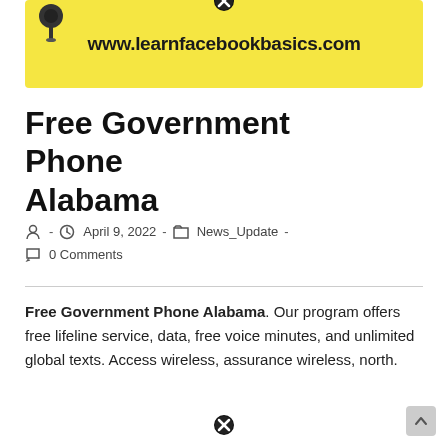[Figure (other): Yellow banner advertisement with pin icon and URL www.learnfacebookbasics.com with a close (X) button]
Free Government Phone Alabama
- April 9, 2022 - News_Update - 0 Comments
Free Government Phone Alabama. Our program offers free lifeline service, data, free voice minutes, and unlimited global texts. Access wireless, assurance wireless, north.